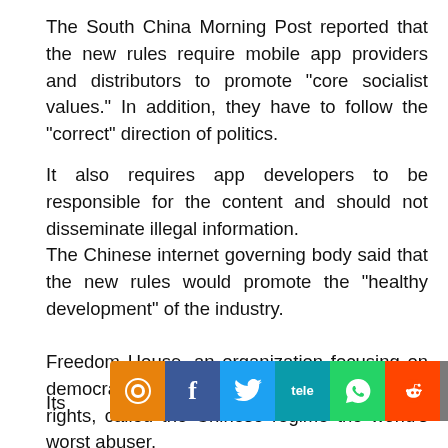The South China Morning Post reported that the new rules require mobile app providers and distributors to promote “core socialist values.” In addition, they have to follow the “correct” direction of politics.
It also requires app developers to be responsible for the content and should not disseminate illegal information.
The Chinese internet governing body said that the new rules would promote the “healthy development” of the industry.
Freedom House, an organization focusing on democracy, political freedom, and human rights, called the Chinese regime the world’s worst abuser.
Its [social share bar overlay] for inte[rnet] ve